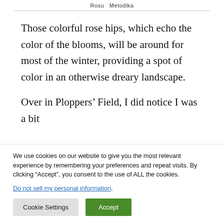Rosu Metodika
Those colorful rose hips, which echo the color of the blooms, will be around for most of the winter, providing a spot of color in an otherwise dreary landscape.
Over in Ploppers’ Field, I did notice I was a bit
We use cookies on our website to give you the most relevant experience by remembering your preferences and repeat visits. By clicking “Accept”, you consent to the use of ALL the cookies.
Do not sell my personal information.